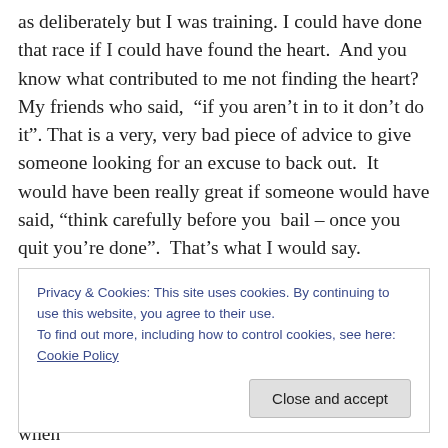as deliberately but I was training. I could have done that race if I could have found the heart.  And you know what contributed to me not finding the heart? My friends who said,  “if you aren’t in to it don’t do it”. That is a very, very bad piece of advice to give someone looking for an excuse to back out.  It would have been really great if someone would have said, “think carefully before you  bail – once you quit you’re done”.  That’s what I would say.
So I quit and I spent months whining and hating on myself.  I stopped trying. Big mistake.  Huge mistake.
Privacy & Cookies: This site uses cookies. By continuing to use this website, you agree to their use.
To find out more, including how to control cookies, see here: Cookie Policy
me around but I am sure that helping someone quit when